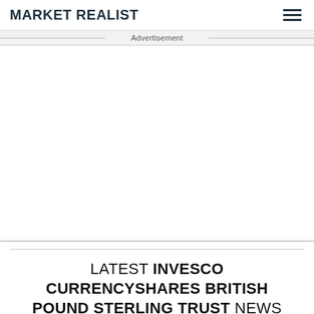MARKET REALIST
Advertisement
[Figure (other): Empty advertisement space area]
LATEST INVESCO CURRENCYSHARES BRITISH POUND STERLING TRUST NEWS AND UPDATES